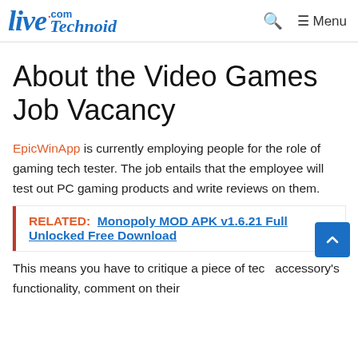Live.com Technoid  [search icon]  Menu
About the Video Games Job Vacancy
EpicWinApp is currently employing people for the role of gaming tech tester. The job entails that the employee will test out PC gaming products and write reviews on them.
RELATED:  Monopoly MOD APK v1.6.21 Full Unlocked Free Download
This means you have to critique a piece of tech accessory's functionality, comment on their